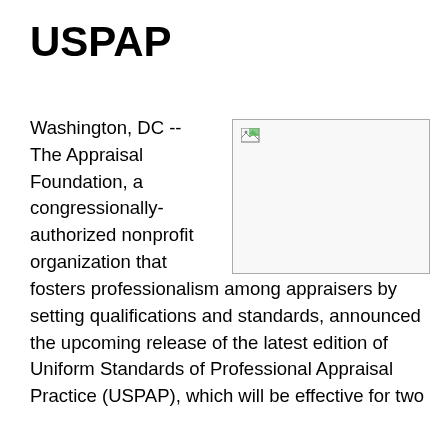USPAP
[Figure (photo): Broken/missing image placeholder with small image icon in top-left corner, bordered rectangle]
Washington, DC -- The Appraisal Foundation, a congressionally-authorized nonprofit organization that fosters professionalism among appraisers by setting qualifications and standards, announced the upcoming release of the latest edition of Uniform Standards of Professional Appraisal Practice (USPAP), which will be effective for two